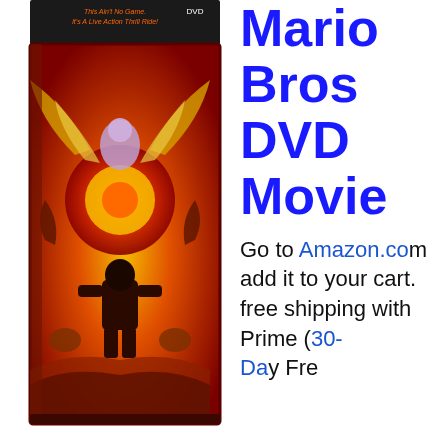[Figure (photo): A DVD steelbook case with dramatic fantasy artwork featuring a dark armored figure standing before a glowing sun/orb, surrounded by winged creatures and monsters in fiery red and gold tones. A small banner at the top reads 'This Ain't No Game. It's A Live Action Thrill Ride!' with a DVD logo.]
Mario Bros DVD Movie
Go to Amazon.com add it to your cart. free shipping with Prime (30-Day Free...